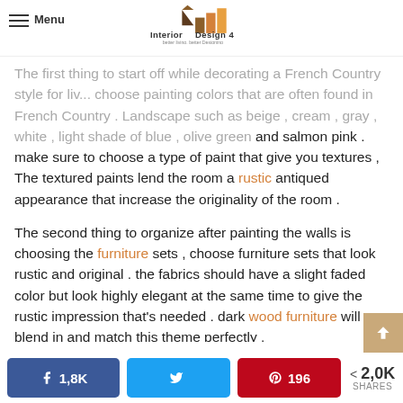Interior Design 4 — better living, better Designing
The first thing to start off while decorating a French Country style for living ... choose painting colors that are often found in French Country . Landscape such as beige , cream , gray , white , light shade of blue , olive green and salmon pink . make sure to choose a type of paint that give you textures , The textured paints lend the room a rustic antiqued appearance that increase the originality of the room .
The second thing to organize after painting the walls is choosing the furniture sets , choose furniture sets that look rustic and original . the fabrics should have a slight faded color but look highly elegant at the same time to give the rustic impression that's needed . dark wood furniture will blend in and match this theme perfectly .
Accessorize your French Country style with rugs , throw...
1,8K shares on Facebook | Twitter | 196 Pinterest | 2,0K SHARES